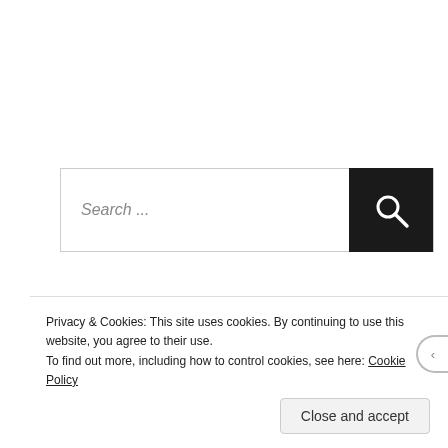[Figure (screenshot): Search bar with text input showing 'Search ...' placeholder and a black search button with magnifying glass icon on the right]
RECENT POSTS
Take Control of Your Life
Sailing St.Thomas to Trinidad
The Mozambique Experience
Privacy & Cookies: This site uses cookies. By continuing to use this website, you agree to their use.
To find out more, including how to control cookies, see here: Cookie Policy
Close and accept